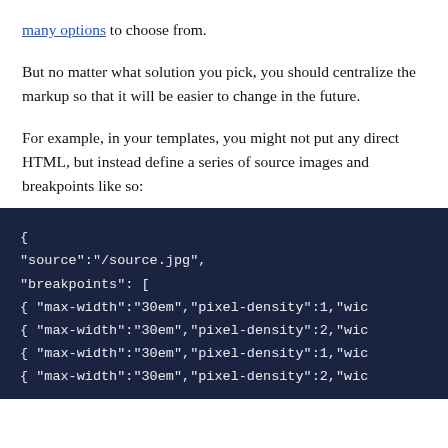many options to choose from.
But no matter what solution you pick, you should centralize the markup so that it will be easier to change in the future.
For example, in your templates, you might not put any direct HTML, but instead define a series of source images and breakpoints like so:
{
"source":"/source.jpg",
"breakpoints": [
{ "max-width":"30em","pixel-density":1,"wic
{ "max-width":"30em","pixel-density":2,"wic
{ "max-width":"30em","pixel-density":1,"wic
{ "max-width":"30em","pixel-density":2,"wic